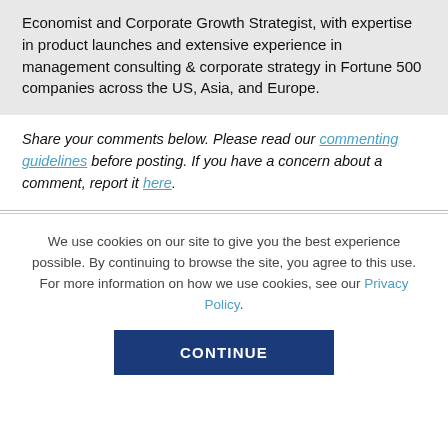Economist and Corporate Growth Strategist, with expertise in product launches and extensive experience in management consulting & corporate strategy in Fortune 500 companies across the US, Asia, and Europe.
Share your comments below. Please read our commenting guidelines before posting. If you have a concern about a comment, report it here.
We use cookies on our site to give you the best experience possible. By continuing to browse the site, you agree to this use. For more information on how we use cookies, see our Privacy Policy.